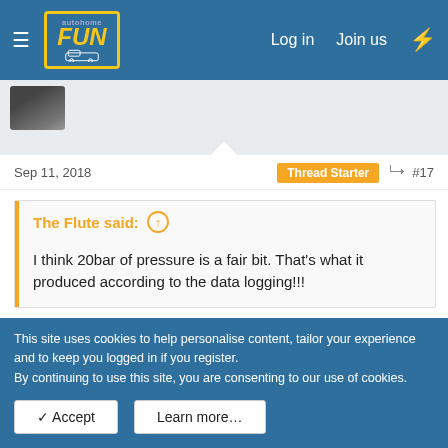Log in  Join us
Sep 11, 2018   Thread Starter   #17
The Flute said: ↑

I think 20bar of pressure is a fair bit. That's what it produced according to the data logging!!!
Blimey. Didn't know that. Very condemning facts .
↩ Reply
This site uses cookies to help personalise content, tailor your experience and to keep you logged in if you register.
By continuing to use this site, you are consenting to our use of cookies.
✓ Accept   Learn more…